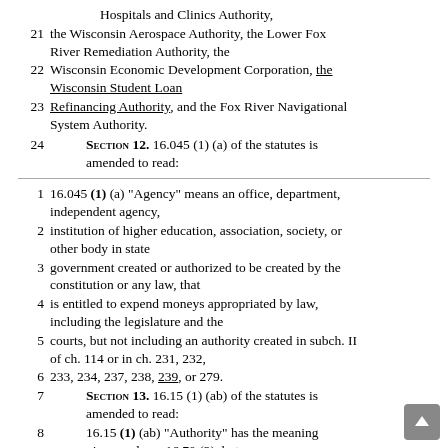Hospitals and Clinics Authority,
21 the Wisconsin Aerospace Authority, the Lower Fox River Remediation Authority, the
22 Wisconsin Economic Development Corporation, the Wisconsin Student Loan
23 Refinancing Authority, and the Fox River Navigational System Authority.
24   SECTION 12. 16.045 (1) (a) of the statutes is amended to read:
1  16.045 (1) (a) "Agency" means an office, department, independent agency,
2  institution of higher education, association, society, or other body in state
3  government created or authorized to be created by the constitution or any law, that
4  is entitled to expend moneys appropriated by law, including the legislature and the
5  courts, but not including an authority created in subch. II of ch. 114 or in ch. 231, 232,
6  233, 234, 237, 238, 239, or 279.
7     SECTION 13. 16.15 (1) (ab) of the statutes is amended to read:
8  16.15 (1) (ab) "Authority" has the meaning given under s. 16.70 (2), but